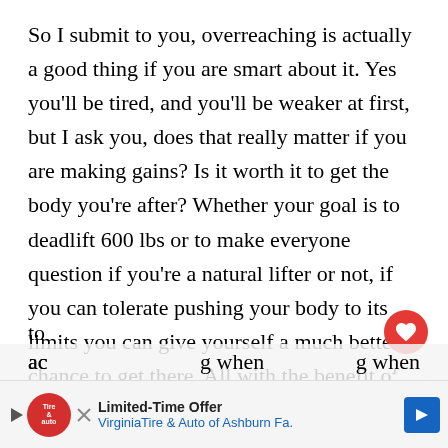So I submit to you, overreaching is actually a good thing if you are smart about it. Yes you'll be tired, and you'll be weaker at first, but I ask you, does that really matter if you are making gains? Is it worth it to get the body you're after? Whether your goal is to deadlift 600 lbs or to make everyone question if you're a natural lifter or not, if you can tolerate pushing your body to its limits you can give yourself a much better chance to get there. All with the benefit of actually being less sore in time. If it's important enough to you, it seems like it would worth it. When you overreach and then period to deload and recover, this is when you
[Figure (other): Red circular heart/like button icon]
[Figure (other): Share button icon (circular with share symbol)]
[Figure (other): What's Next panel showing 'Pre, Intra And Post Trainin...' with thumbnail image]
[Figure (other): Advertisement banner: Limited-Time Offer - Virginia Tire & Auto of Ashburn Fa.]
ac... g when to...